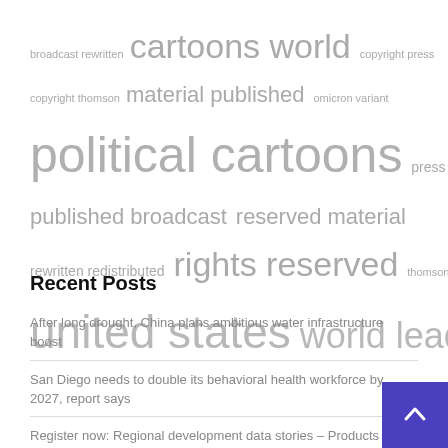[Figure (infographic): Tag/word cloud with terms: broadcast rewritten, cartoons world, copyright press, copyright thomson, material published, omicron variant, political cartoons, press rights, published broadcast, reserved material, rewritten redistributed, rights reserved, thomson reuters, united states, world leaders — displayed in varying font sizes in light gray]
Recent Posts
After long drought, China plans ambitious water infrastructure boost
San Diego needs to double its behavioral health workforce by 2027, report says
Register now: Regional development data stories – Products